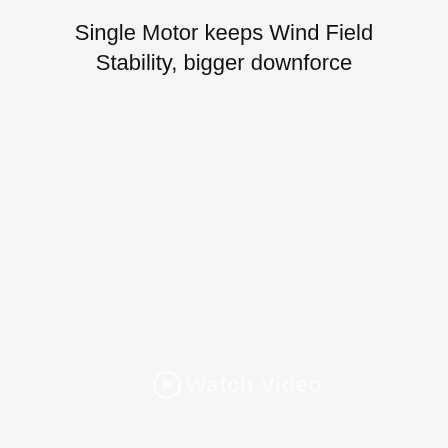Single Motor keeps Wind Field Stability, bigger downforce
[Figure (other): Mostly blank/light gray area representing a video thumbnail or image placeholder with a 'Watch Video' watermark overlay at the bottom center.]